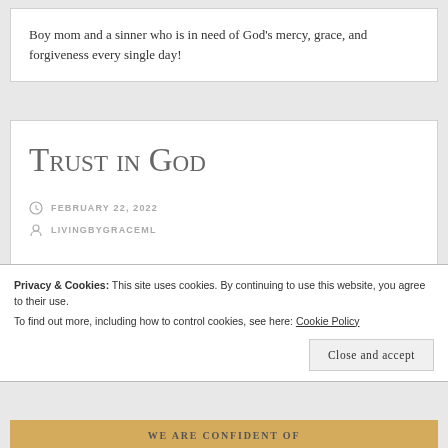Boy mom and a sinner who is in need of God's mercy, grace, and forgiveness every single day!
Trust in God
FEBRUARY 22, 2022
LIVINGBYGRACEML
Privacy & Cookies: This site uses cookies. By continuing to use this website, you agree to their use. To find out more, including how to control cookies, see here: Cookie Policy
Close and accept
WE ARE CONFIDENT OF